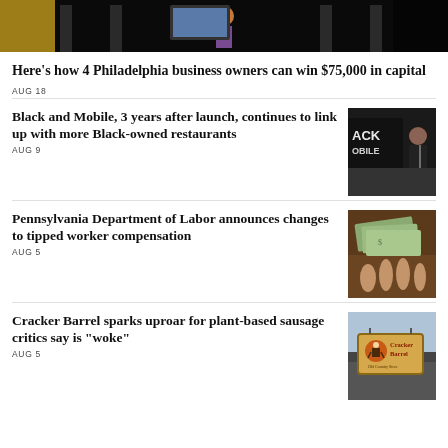[Figure (photo): Dark image of a person on stage at an event, partially visible, indoor setting]
Here's how 4 Philadelphia business owners can win $75,000 in capital
AUG 18
Black and Mobile, 3 years after launch, continues to link up with more Black-owned restaurants
AUG 9
[Figure (photo): Photo showing Black and Mobile event banner with a person speaking]
Pennsylvania Department of Labor announces changes to tipped worker compensation
AUG 5
[Figure (photo): Photo of dollar bills being held, tipped worker money]
Cracker Barrel sparks uproar for plant-based sausage critics say is "woke"
AUG 5
[Figure (photo): Cracker Barrel Old Country Store sign outdoors]